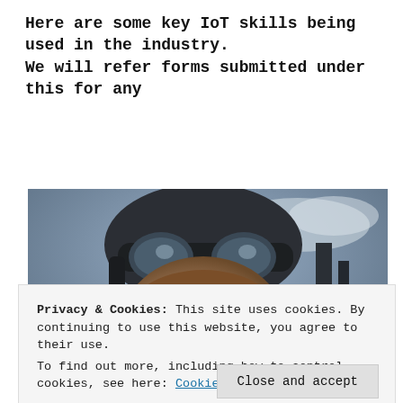Here are some key IoT skills being used in the industry. We will refer forms submitted under this for any
Continue reading »
[Figure (photo): Close-up photo of a person wearing aviator goggles and a leather flight helmet, with a moody sky background]
Privacy & Cookies: This site uses cookies. By continuing to use this website, you agree to their use.
To find out more, including how to control cookies, see here: Cookie Policy
Close and accept